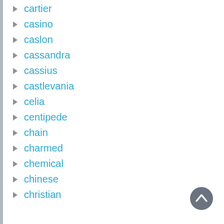cartier
casino
caslon
cassandra
cassius
castlevania
celia
centipede
chain
charmed
chemical
chinese
christian
[Figure (other): Scroll-to-top circular button with upward chevron arrow in dark gray]